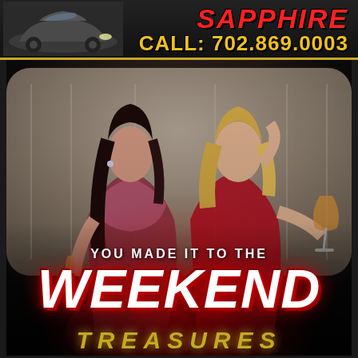[Figure (photo): Top banner with luxury car image on the left, red text reading SAPPHIRE and gold text reading CALL: 702.869.0003 on the right, dark background with gold border]
[Figure (photo): Two glamorous women in evening wear seated in a luxury car interior, holding wine glasses. Text overlay reads YOU MADE IT TO THE WEEKEND, TREASURES. Dark atmospheric background.]